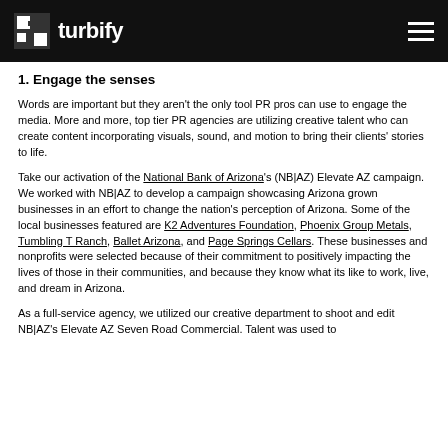turbify
1. Engage the senses
Words are important but they aren't the only tool PR pros can use to engage the media. More and more, top tier PR agencies are utilizing creative talent who can create content incorporating visuals, sound, and motion to bring their clients' stories to life.
Take our activation of the National Bank of Arizona's (NB|AZ) Elevate AZ campaign. We worked with NB|AZ to develop a campaign showcasing Arizona grown businesses in an effort to change the nation's perception of Arizona. Some of the local businesses featured are K2 Adventures Foundation, Phoenix Group Metals, Tumbling T Ranch, Ballet Arizona, and Page Springs Cellars. These businesses and nonprofits were selected because of their commitment to positively impacting the lives of those in their communities, and because they know what its like to work, live, and dream in Arizona.
As a full-service agency, we utilized our creative department to shoot and edit NB|AZ's Elevate AZ Seven Road Commercial. Talent was used to...